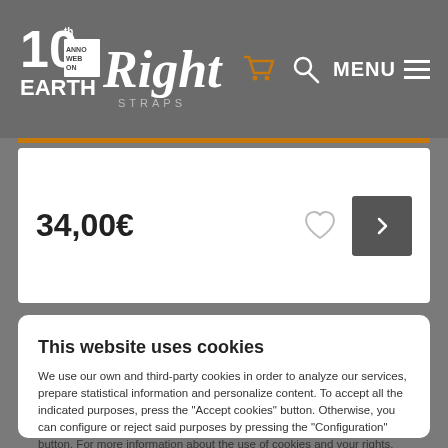Right On! Straps — 10th Anniversary — Navigation header with cart, search, and menu
34,00€
This website uses cookies
We use our own and third-party cookies in order to analyze our services, prepare statistical information and personalize content. To accept all the indicated purposes, press the "Accept cookies" button. Otherwise, you can configure or reject said purposes by pressing the "Configuration" button. For more information about the use of cookies and your rights, access our cookies policy.
Accept cookies
Configuration
Powered by delaweb